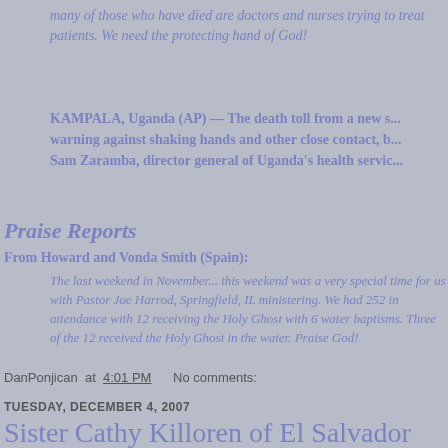many of those who have died are doctors and nurses trying to treat patients. We need the protecting hand of God!
KAMPALA, Uganda (AP) — The death toll from a new s... warning against shaking hands and other close contact, b... Sam Zaramba, director general of Uganda's health servic...
Praise Reports
From Howard and Vonda Smith (Spain):
The last weekend in November... this weekend was a very special time for us with Pastor Joe Harrod, Springfield, IL ministering. We had 252 in attendance with 12 receiving the Holy Ghost with 6 water baptisms. Three of the 12 received the Holy Ghost in the water. Praise God!
DanPonjican at 4:01 PM    No comments:
TUESDAY, DECEMBER 4, 2007
Sister Cathy Killoren of El Salvador